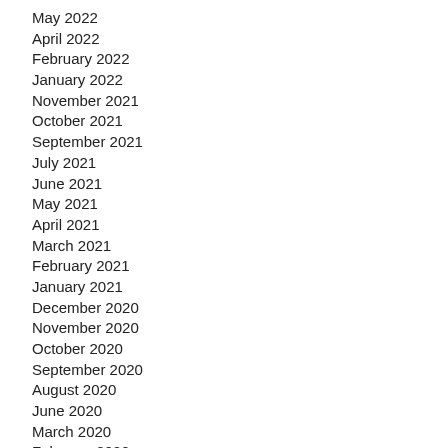May 2022
April 2022
February 2022
January 2022
November 2021
October 2021
September 2021
July 2021
June 2021
May 2021
April 2021
March 2021
February 2021
January 2021
December 2020
November 2020
October 2020
September 2020
August 2020
June 2020
March 2020
February 2020
January 2020